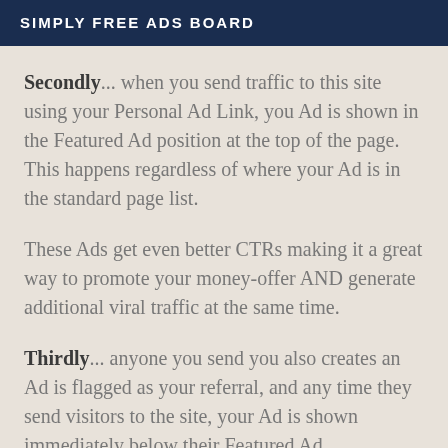SIMPLY FREE ADS BOARD
Secondly... when you send traffic to this site using your Personal Ad Link, you Ad is shown in the Featured Ad position at the top of the page. This happens regardless of where your Ad is in the standard page list.
These Ads get even better CTRs making it a great way to promote your money-offer AND generate additional viral traffic at the same time.
Thirdly... anyone you send you also creates an Ad is flagged as your referral, and any time they send visitors to the site, your Ad is shown immediately below their Featured Ad.